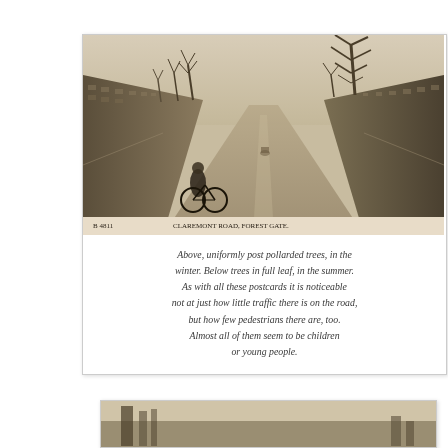[Figure (photo): Sepia-toned historical postcard photograph of Claremont Road, Forest Gate. A long straight road vanishes into the distance with terraced houses on both sides, bare winter trees lining the street. A person with a bicycle stands in the foreground left. Caption at bottom reads: 'B 4811  CLAREMONT ROAD, FOREST GATE.']
Above, uniformly post pollarded trees, in the winter. Below trees in full leaf, in the summer. As with all these postcards it is noticeable not at just how little traffic there is on the road, but how few pedestrians there are, too. Almost all of them seem to be children or young people.
[Figure (photo): Partial sepia-toned historical postcard photograph visible at the bottom of the page, partially cropped.]